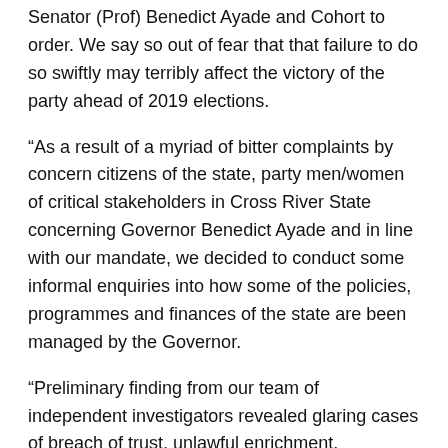Senator (Prof) Benedict Ayade and Cohort to order. We say so out of fear that that failure to do so swiftly may terribly affect the victory of the party ahead of 2019 elections.
“As a result of a myriad of bitter complaints by concern citizens of the state, party men/women of critical stakeholders in Cross River State concerning Governor Benedict Ayade and in line with our mandate, we decided to conduct some informal enquiries into how some of the policies, programmes and finances of the state are been managed by the Governor.
“Preliminary finding from our team of independent investigators revealed glaring cases of breach of trust, unlawful enrichment, deceptive administration, lies, propaganda, land grabbing and wanton conversion of public funds by Gov. Ayade Ben and the Co-Governor.